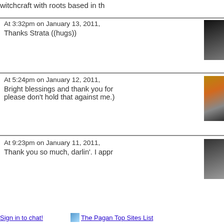witchcraft with roots based in th
At 3:32pm on January 13, 2011,
Thanks Strata ((hugs))
At 5:24pm on January 12, 2011,
Bright blessings and thank you for
please don't hold that against me.)
At 9:23pm on January 11, 2011,
Thank you so much, darlin'. I appr
Sign in to chat!
The Pagan Top Sites List